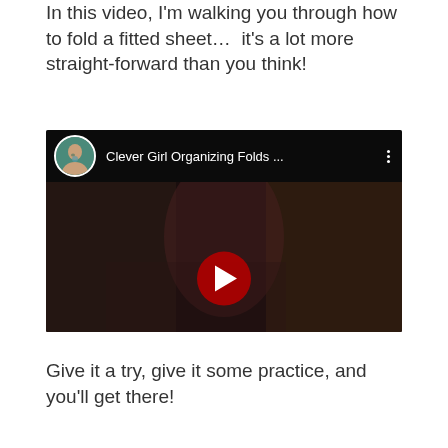In this video, I'm walking you through how to fold a fitted sheet…  it's a lot more straight-forward than you think!
[Figure (screenshot): Embedded YouTube video thumbnail showing a YouTube player with a channel avatar, the title 'Clever Girl Organizing Folds ...' and a red play button. The video thumbnail shows a dark scene of a person folding a sheet.]
Give it a try, give it some practice, and you'll get there!